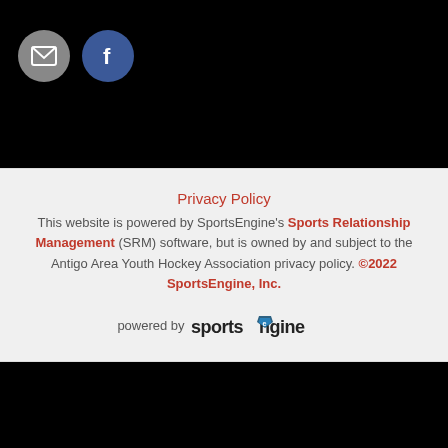[Figure (other): Email icon (grey circle with white envelope) and Facebook icon (blue circle with white f)]
Privacy Policy
This website is powered by SportsEngine's Sports Relationship Management (SRM) software, but is owned by and subject to the Antigo Area Youth Hockey Association privacy policy. ©2022 SportsEngine, Inc.
[Figure (logo): powered by sportsengine logo]